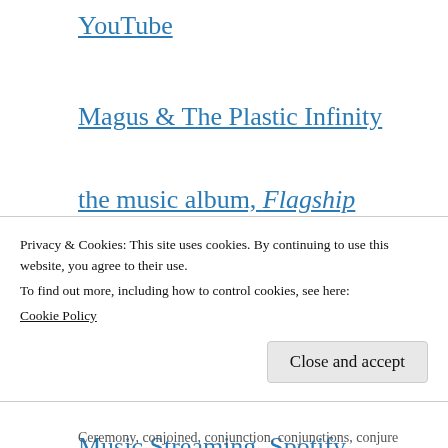YouTube
Magus & The Plastic Infinity
the music album, Flagship
Music Streaming, Amazon
Music Streaming, Apple Music
Music Streaming, Spotify
Privacy & Cookies: This site uses cookies. By continuing to use this website, you agree to their use.
To find out more, including how to control cookies, see here: Cookie Policy
Close and accept
Ceremony, conjoined, conjunction, conjunctions, conjure